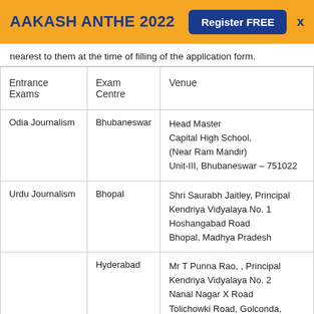AAKASH ANTHE 2022   Register FREE   X
nearest to them at the time of filling of the application form.
| Entrance Exams | Exam Centre | Venue |
| --- | --- | --- |
| Odia Journalism | Bhubaneswar | Head Master
Capital High School,
(Near Ram Mandir)
Unit-III, Bhubaneswar – 751022 |
| Urdu Journalism | Bhopal | Shri Saurabh Jaitley, Principal
Kendriya Vidyalaya No. 1
Hoshangabad Road
Bhopal, Madhya Pradesh |
|  | Hyderabad | Mr T Punna Rao, , Principal
Kendriya Vidyalaya No. 2
Nanal Nagar X Road
Tolichowki Road, Golconda,
Hyderabad |
|  | J... | IHC... |